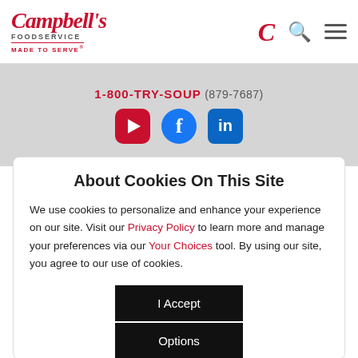Campbell's Foodservice - Made to Serve
1-800-TRY-SOUP (879-7687)
[Figure (logo): YouTube, Facebook, LinkedIn social media icons]
About Cookies On This Site
We use cookies to personalize and enhance your experience on our site. Visit our Privacy Policy to learn more and manage your preferences via our Your Choices tool. By using our site, you agree to our use of cookies.
I Accept
Options